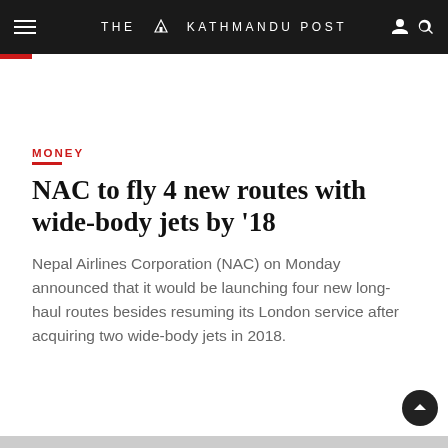THE KATHMANDU POST
MONEY
NAC to fly 4 new routes with wide-body jets by '18
Nepal Airlines Corporation (NAC) on Monday announced that it would be launching four new long-haul routes besides resuming its London service after acquiring two wide-body jets in 2018.